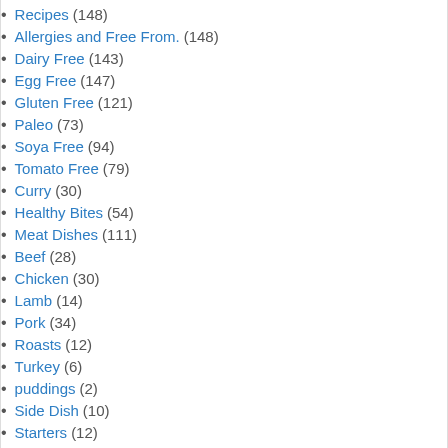Recipes (148)
Allergies and Free From. (148)
Dairy Free (143)
Egg Free (147)
Gluten Free (121)
Paleo (73)
Soya Free (94)
Tomato Free (79)
Curry (30)
Healthy Bites (54)
Meat Dishes (111)
Beef (28)
Chicken (30)
Lamb (14)
Pork (34)
Roasts (12)
Turkey (6)
puddings (2)
Side Dish (10)
Starters (12)
Soup (7)
Vegetarian (31)